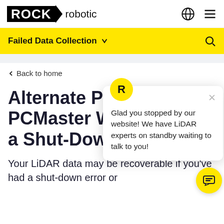ROCK robotic
Failed Data Collection
< Back to home
Alternate Pr... PCMaster W... a Shut-Down...
Your LiDAR data may be recoverable if you've had a shut-down error or
Glad you stopped by our website! We have LiDAR experts on standby waiting to talk to you!